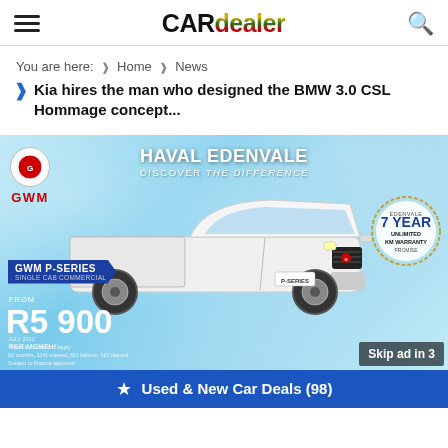CAR dealer
You are here: Home › News › Kia hires the man who designed the BMW 3.0 CSL Hommage concept...
[Figure (infographic): GWM advertisement banner featuring GWM P-Series Single Cab Commercial pickup truck on icy blue background. HAVAL EDENVALE DISCOVER THE DIFFERENCE. From R5 900 per month. 7 Year Unlimited KM Warranty badge. Skip ad in 3 overlay.]
Used & New Car Deals (98)